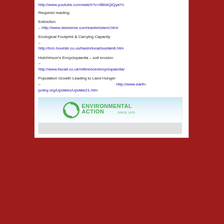http://www.youtube.com/watch?v=4BbkQiQyaYc
Required reading:
Extinction – http://www.skewsme.com/easterisland.html
Ecological Footprint & Carrying Capacity – http://bcn.boulder.co.us/basin/local/sustain6.htm
Hutchinson's Encyclopaedia – soil erosion – http://www.tiscali.co.uk/reference/encyclopaedia/
Population Growth Leading to Land Hunger – http://www.earth-policy.org/Updates/Update21.htm
[Figure (logo): Environmental Action since 1970 logo — green circular arrow icon with green text]